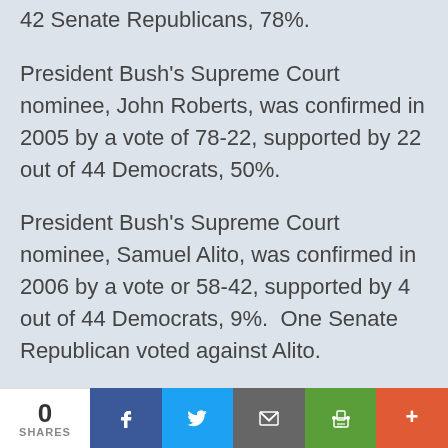42 Senate Republicans, 78%.
President Bush's Supreme Court nominee, John Roberts, was confirmed in 2005 by a vote of 78-22, supported by 22 out of 44 Democrats, 50%.
President Bush's Supreme Court nominee, Samuel Alito, was confirmed in 2006 by a vote or 58-42, supported by 4 out of 44 Democrats, 9%.  One Senate Republican voted against Alito.
Were Justice Roberts and Justice Alito less qualified than Justice Breyer and Justice
0 SHARES | Facebook | Twitter | Email | Print | More